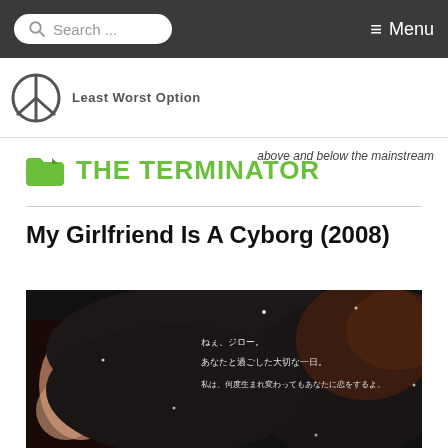Search ... | ≡ Menu
[Figure (logo): Least Worst Option site banner with peace symbol logo and tagline 'above and below the mainstream']
THE TERMINATOR
My Girlfriend Is A Cyborg (2008)
[Figure (photo): Movie poster for 'My Girlfriend Is A Cyborg (2008)' showing two people close together with dark hair, with Japanese text overlay on a dark background with light dots/stars. Japanese text reads: ねぇ、ジロー。 あなたと過ごした大切な一日。 私は、何度生まれ変わってもあなたに恋をするよ。]